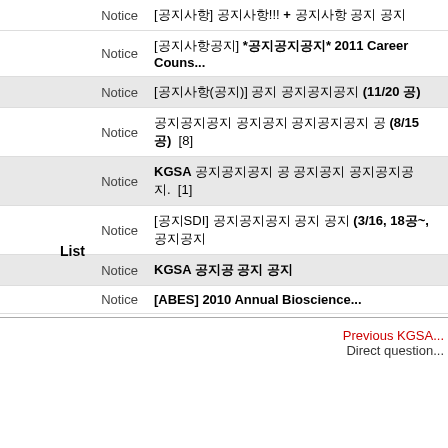| Category | Title |
| --- | --- |
| Notice | [공지사항] 공지사항!!! + 공지사항 공지 공지 |
| Notice | [공지사항공지] *공지공지공지* 2011 Career Couns... |
| Notice | [공지사항(공지)] 공지 공지공지공지 (11/20 공) |
| Notice | 공지공지공지 공지공지 공지공지공지 공 (8/15 공)  [8] |
| Notice | KGSA 공지공지공지 공 공지공지 공지공지공지.  [1] |
| Notice | [공지SDI] 공지공지공지 공지 공지 (3/16, 18공~, 공지공지 |
| Notice | KGSA 공지공 공지 공지 |
| Notice | [ABES] 2010 Annual Bioscience... |
List
Previous KGSA...
Direct question...